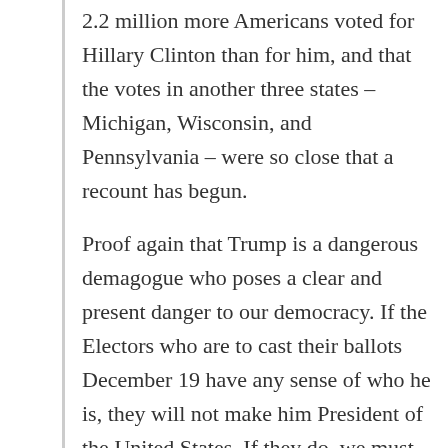2.2 million more Americans voted for Hillary Clinton than for him, and that the votes in another three states – Michigan, Wisconsin, and Pennsylvania – were so close that a recount has begun.
Proof again that Trump is a dangerous demagogue who poses a clear and present danger to our democracy. If the Electors who are to cast their ballots December 19 have any sense of who he is, they will not make him President of the United States. If they do, we must hope that he is impeached as quickly as possible. As long as he is president, we owe it to our country to peacefully resist all that this man will try to do.